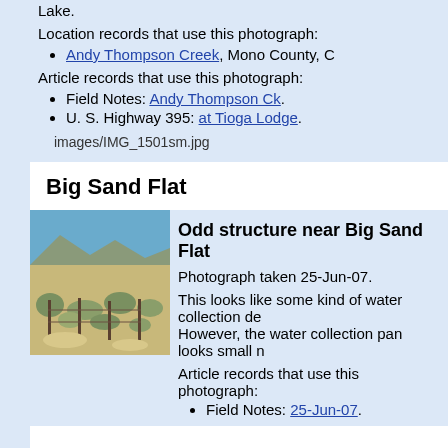Lake.
Location records that use this photograph:
Andy Thompson Creek, Mono County, C
Article records that use this photograph:
Field Notes: Andy Thompson Ck.
U. S. Highway 395: at Tioga Lodge.
images/IMG_1501sm.jpg
Big Sand Flat
Odd structure near Big Sand Flat
[Figure (photo): Photograph of desert scrubland near Big Sand Flat with fence posts visible]
Photograph taken 25-Jun-07.
This looks like some kind of water collection de... However, the water collection pan looks small n...
Article records that use this photograph:
Field Notes: 25-Jun-07.